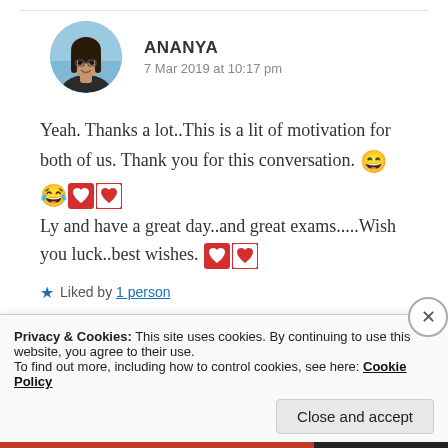[Figure (photo): Circular avatar photo of a smiling young woman with glasses and long dark hair, outdoors with blue sky background]
ANANYA
7 Mar 2019 at 10:17 pm
Yeah. Thanks a lot..This is a lit of motivation for both of us. Thank you for this conversation. 😄😂❤️❤️ Ly and have a great day..and great exams.....Wish you luck..best wishes. ❤️❤️
★ Liked by 1 person
Privacy & Cookies: This site uses cookies. By continuing to use this website, you agree to their use. To find out more, including how to control cookies, see here: Cookie Policy
Close and accept